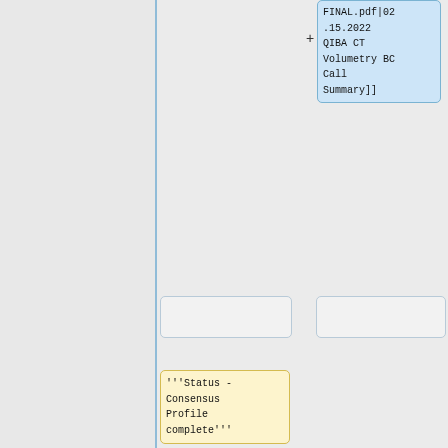FINAL.pdf|02.15.2022 QIBA CT Volumetry BC Call Summary]]
'''Status - Consensus Profile complete'''
* [[Media:QIBA_CTVol_TumorVolumeChangeProfile_Consensus-20161121b.pdf | QIBA Profile: CT